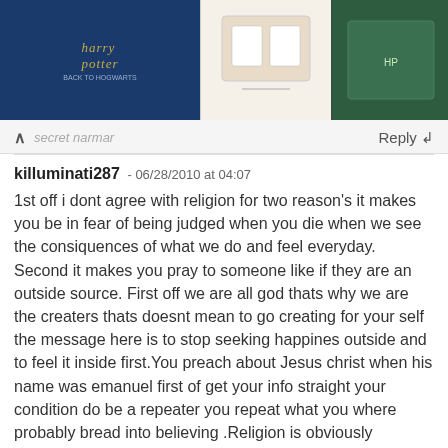[Figure (screenshot): Advertisement banner for BoxLunch featuring Harry Potter themed merchandise images and BoxLunch logo with 'SHOP NOW' button]
secret  narmar
Reply ↲
killuminati287 - 06/28/2010 at 04:07
1st off i dont agree with religion for two reason's it makes you be in fear of being judged when you die when we see the consiquences of what we do and feel everyday. Second it makes you pray to someone like if they are an outside source. First off we are all god thats why we are the creaters thats doesnt mean to go creating for your self the message here is to stop seeking happines outside and to feel it inside first.You preach about Jesus christ when his name was emanuel first of get your info straight your condition do be a repeater you repeat what you where probably bread into believing .Religion is obviously manipulated by the illuminati just like the media